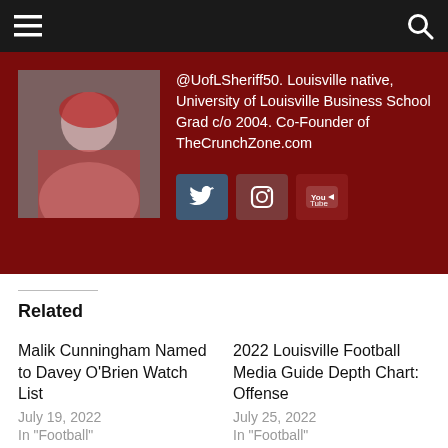Navigation bar with menu and search icons
[Figure (photo): Author profile card with photo and bio text. Shows a person in red gear. Bio reads: @UofLSheriff50. Louisville native, University of Louisville Business School Grad c/o 2004. Co-Founder of TheCrunchZone.com. Social icons: Twitter, Instagram, YouTube.]
Related
Malik Cunningham Named to Davey O'Brien Watch List
July 19, 2022
In "Football"
2022 Louisville Football Media Guide Depth Chart: Offense
July 25, 2022
In "Football"
2022 LOUISVILLE FOOTBALL MEDIA GUIDE DEPTH CHART: DEFENSE
July 31, 2022
In "Football"